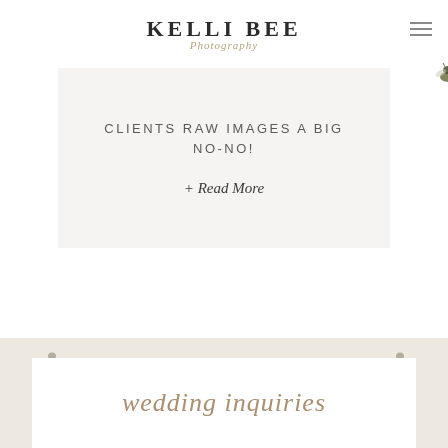KELLI BEE Photography
CLIENTS RAW IMAGES A BIG NO-NO!
+ Read More
wedding inquiries